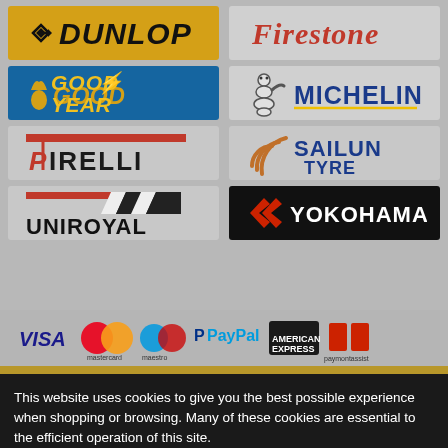[Figure (logo): Dunlop tyre brand logo - yellow background with italic black text]
[Figure (logo): Firestone tyre brand logo - red script text on grey background]
[Figure (logo): Goodyear tyre brand logo - blue background with yellow italic text and winged foot]
[Figure (logo): Michelin tyre brand logo - Bibendum mascot with blue text on grey]
[Figure (logo): Pirelli tyre brand logo - red P with black text on grey]
[Figure (logo): Sailun Tyre brand logo - orange concentric arcs with blue text]
[Figure (logo): Uniroyal tyre brand logo - red/black chevron pattern with bold black text]
[Figure (logo): Yokohama tyre brand logo - black background with red chevron and white text]
[Figure (logo): Payment method logos: VISA, Mastercard, Maestro, PayPal, American Express, PaymentAssist]
This website uses cookies to give you the best possible experience when shopping or browsing. Many of these cookies are essential to the efficient operation of this site.
Cookies Settings
Accept All Cookies